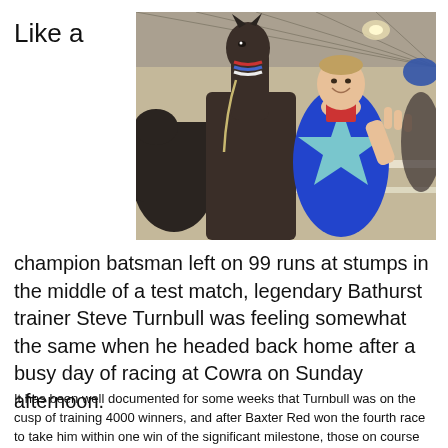Like a
[Figure (photo): A jockey in a blue satin jacket with a large light-blue star on it, smiling and holding up three fingers next to a dark bay horse wearing a ribbon, inside a stable or barn setting.]
champion batsman left on 99 runs at stumps in the middle of a test match, legendary Bathurst trainer Steve Turnbull was feeling somewhat the same when he headed back home after a busy day of racing at Cowra on Sunday afternoon.
It has been well documented for some weeks that Turnbull was on the cusp of training 4000 winners, and after Baxter Red won the fourth race to take him within one win of the significant milestone, those on course waited in anticipation, thinking they would be